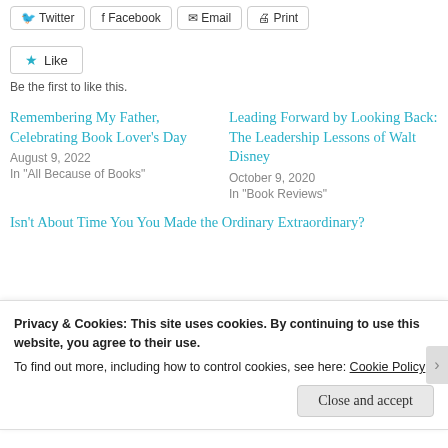[Figure (other): Social share buttons: Twitter, Facebook, Email, Print]
[Figure (other): Like button with star icon]
Be the first to like this.
Remembering My Father, Celebrating Book Lover's Day
August 9, 2022
In "All Because of Books"
Leading Forward by Looking Back: The Leadership Lessons of Walt Disney
October 9, 2020
In "Book Reviews"
Isn't About Time You You Made the Ordinary Extraordinary?
Privacy & Cookies: This site uses cookies. By continuing to use this website, you agree to their use.
To find out more, including how to control cookies, see here: Cookie Policy
Close and accept